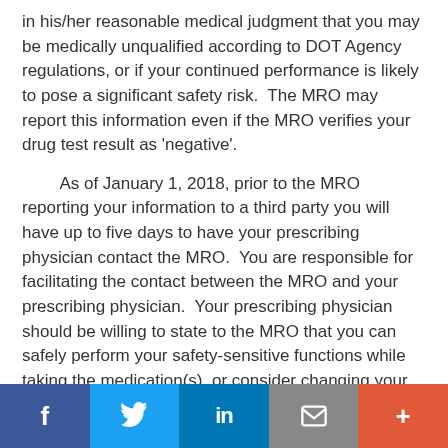in his/her reasonable medical judgment that you may be medically unqualified according to DOT Agency regulations, or if your continued performance is likely to pose a significant safety risk.  The MRO may report this information even if the MRO verifies your drug test result as 'negative'.
As of January 1, 2018, prior to the MRO reporting your information to a third party you will have up to five days to have your prescribing physician contact the MRO.  You are responsible for facilitating the contact between the MRO and your prescribing physician.  Your prescribing physician should be willing to state to the MRO that you can safely perform your safety-sensitive functions while taking the medication(s), or consider changing your medication to one that does not make you medically unqualified or does not pose a significant safety risk.
Social share bar: Facebook, Twitter, LinkedIn, Email, More